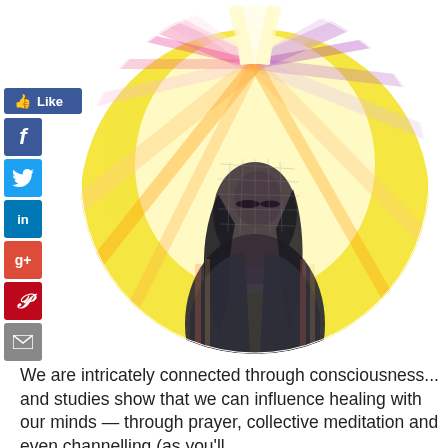[Figure (photo): Circular cropped photo of a woman with eyes closed meditating, surrounded by colorful radiating light rays in pink, yellow, purple, and orange tones suggesting aura or spiritual energy.]
We are intricately connected through consciousness... and studies show that we can influence healing with our minds — through prayer, collective meditation and even channelling (as you'll